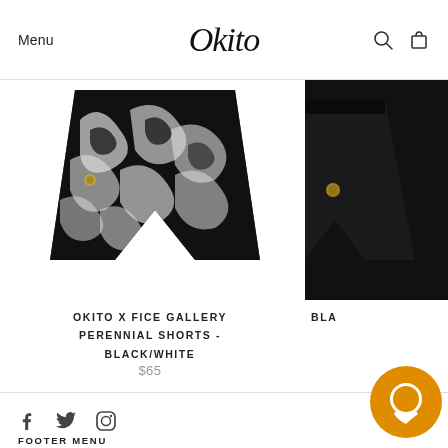Menu | Okito | [search icon] [cart icon]
[Figure (photo): Black and white graphic-print shorts (Okito x Fice Gallery Perennial Shorts) with graffiti-style lettering pattern, displayed flat/hanging]
OKITO X FICE GALLERY PERENNIAL SHORTS - BLACK/WHITE
$65
[Figure (photo): Partial view of a second product (black shorts/item) cropped on the right side, labeled BLA... (truncated)]
BLA
Footer: social icons (Facebook, Twitter, Instagram), chat bubble, FOOTER MENU
FOOTER MENU